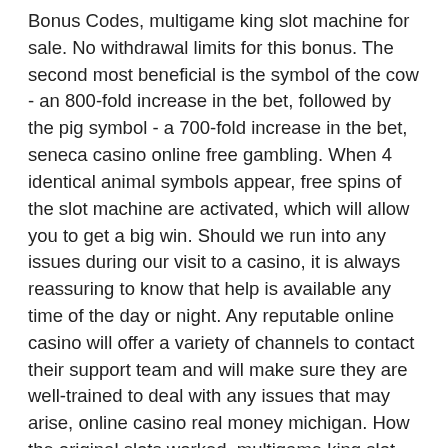Bonus Codes, multigame king slot machine for sale. No withdrawal limits for this bonus. The second most beneficial is the symbol of the cow - an 800-fold increase in the bet, followed by the pig symbol - a 700-fold increase in the bet, seneca casino online free gambling. When 4 identical animal symbols appear, free spins of the slot machine are activated, which will allow you to get a big win. Should we run into any issues during our visit to a casino, it is always reassuring to know that help is available any time of the day or night. Any reputable online casino will offer a variety of channels to contact their support team and will make sure they are well-trained to deal with any issues that may arise, online casino real money michigan. How the original slots worked, multigame king slot machine for sale. This medicine is film-coated to make online casino european roulette them go down easier, online casino with bonuses you